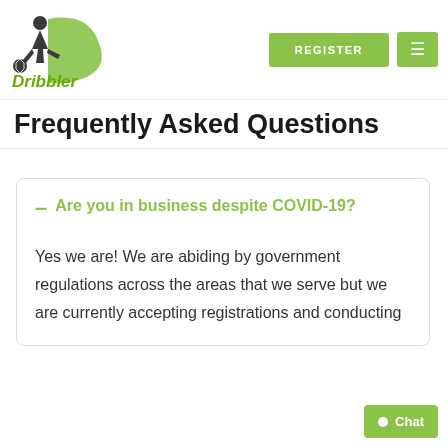[Figure (logo): Dribbler logo: soccer player silhouette kicking a ball with a green D-shaped swoosh behind, and the text 'Dribbler' below in green italic font]
REGISTER  ≡
Frequently Asked Questions
Are you in business despite COVID-19?
Yes we are! We are abiding by government regulations across the areas that we serve but we are currently accepting registrations and conducting